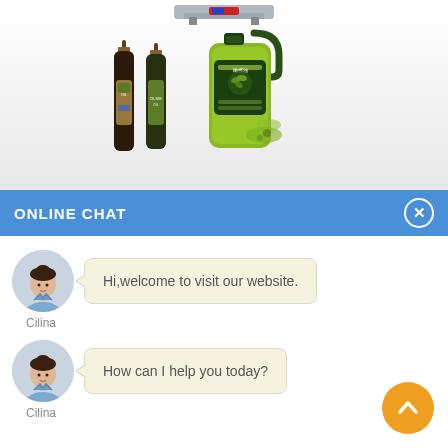[Figure (photo): Product image area showing olive oil bottles - two dark glass bottles and one large green plastic jug with olive oil, plus a machine top visible at top]
ONLINE CHAT
[Figure (photo): Avatar of chat agent named Cilina - woman in light blue shirt]
Hi,welcome to visit our website.
Cilina
[Figure (photo): Avatar of chat agent named Cilina - woman in light blue shirt]
How can I help you today?
Cilina